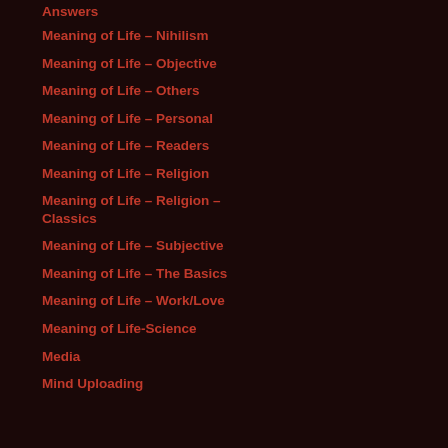Answers
Meaning of Life – Nihilism
Meaning of Life – Objective
Meaning of Life – Others
Meaning of Life – Personal
Meaning of Life – Readers
Meaning of Life – Religion
Meaning of Life – Religion – Classics
Meaning of Life – Subjective
Meaning of Life – The Basics
Meaning of Life – Work/Love
Meaning of Life-Science
Media
Mind Uploading